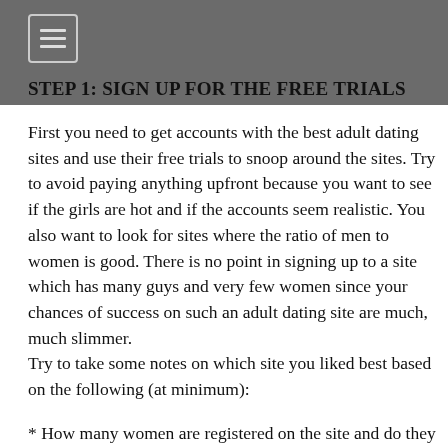STEP 1: SIGN UP FOR THE FREE TRIALS
First you need to get accounts with the best adult dating sites and use their free trials to snoop around the sites. Try to avoid paying anything upfront because you want to see if the girls are hot and if the accounts seem realistic. You also want to look for sites where the ratio of men to women is good. There is no point in signing up to a site which has many guys and very few women since your chances of success on such an adult dating site are much, much slimmer.
Try to take some notes on which site you liked best based on the following (at minimum):
* How many women are registered on the site and do they look like real account?
* What is the ratio of women to men?